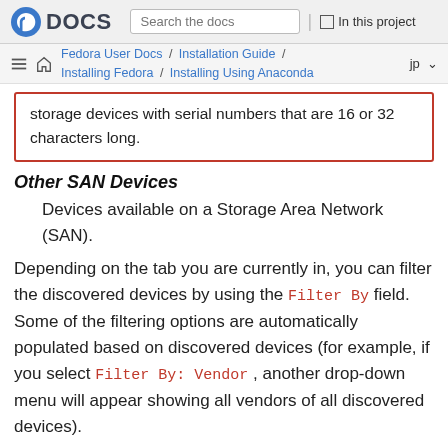Fedora DOCS | Search the docs | In this project
Fedora User Docs / Installation Guide / Installing Fedora / Installing Using Anaconda | jp
storage devices with serial numbers that are 16 or 32 characters long.
Other SAN Devices
Devices available on a Storage Area Network (SAN).
Depending on the tab you are currently in, you can filter the discovered devices by using the Filter By field. Some of the filtering options are automatically populated based on discovered devices (for example, if you select Filter By: Vendor , another drop-down menu will appear showing all vendors of all discovered devices).